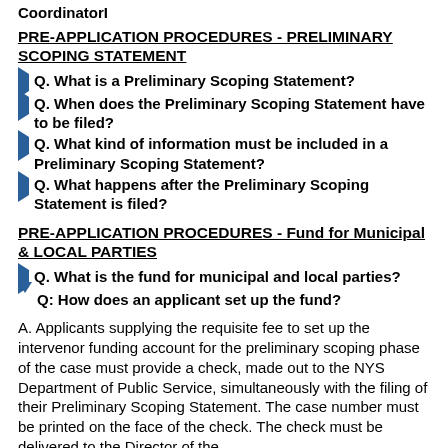CoordinatorI
PRE-APPLICATION PROCEDURES - PRELIMINARY SCOPING STATEMENT
Q. What is a Preliminary Scoping Statement?
Q. When does the Preliminary Scoping Statement have to be filed?
Q. What kind of information must be included in a Preliminary Scoping Statement?
Q. What happens after the Preliminary Scoping Statement is filed?
PRE-APPLICATION PROCEDURES - Fund for Municipal & LOCAL PARTIES
Q. What is the fund for municipal and local parties?
Q: How does an applicant set up the fund?
A. Applicants supplying the requisite fee to set up the intervenor funding account for the preliminary scoping phase of the case must provide a check, made out to the NYS Department of Public Service, simultaneously with the filing of their Preliminary Scoping Statement. The case number must be printed on the face of the check. The check must be delivered to the Director of the